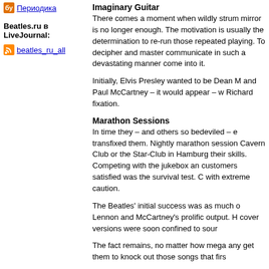Периодика
Beatles.ru в LiveJournal:
beatles_ru_all
Imaginary Guitar
There comes a moment when wildly strum mirror is no longer enough. The motivation is usually the determination to re-run those repeated playing. To decipher and master communicate in such a devastating manner come into it.
Initially, Elvis Presley wanted to be Dean M and Paul McCartney – it would appear – w Richard fixation.
Marathon Sessions
In time they – and others so bedeviled – e transfixed them. Nightly marathon session Cavern Club or the Star-Club in Hamburg their skills. Competing with the jukebox an customers satisfied was the survival test. with extreme caution.
The Beatles' initial success was as much o Lennon and McCartney's prolific output. H cover versions were soon confined to sour
The fact remains, no matter how mega any get them to knock out those songs that firs
Spontaneous
July 1987. The third week in July and Paul musicians to see if it is still possible to mak spontaneous manner as when Elvis, Budd Charles, Chuck Berry or, for that matter, Th Muhammad Ali dispatched contenders.